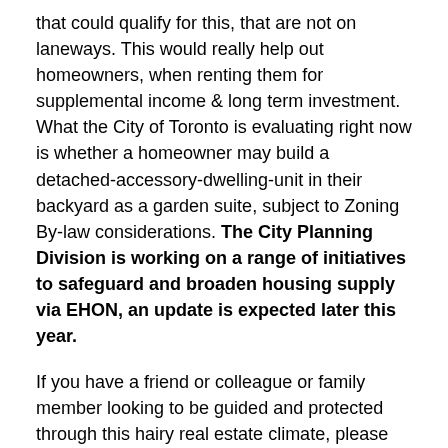that could qualify for this, that are not on laneways. This would really help out homeowners, when renting them for supplemental income & long term investment. What the City of Toronto is evaluating right now is whether a homeowner may build a detached-accessory-dwelling-unit in their backyard as a garden suite, subject to Zoning By-law considerations. The City Planning Division is working on a range of initiatives to safeguard and broaden housing supply via EHON, an update is expected later this year.
If you have a friend or colleague or family member looking to be guided and protected through this hairy real estate climate, please let us know, we are happy to help.
Stay safe! Keep your social distance, wear your masks and be sure to keep washing your hands!
guiding you home™,
Julie
P.S. Please reach out if you need help. Now is the time for